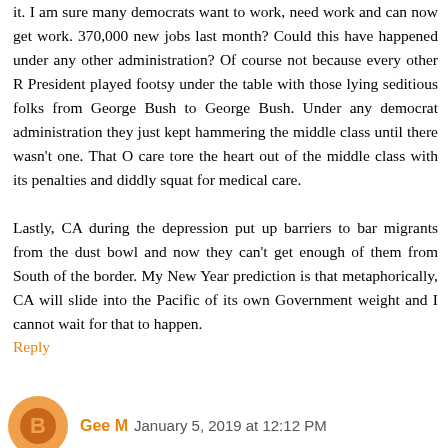it. I am sure many democrats want to work, need work and can now get work. 370,000 new jobs last month? Could this have happened under any other administration? Of course not because every other R President played footsy under the table with those lying seditious folks from George Bush to George Bush. Under any democrat administration they just kept hammering the middle class until there wasn't one. That O care tore the heart out of the middle class with its penalties and diddly squat for medical care.

Lastly, CA during the depression put up barriers to bar migrants from the dust bowl and now they can't get enough of them from South of the border. My New Year prediction is that metaphorically, CA will slide into the Pacific of its own Government weight and I cannot wait for that to happen.
Reply
Gee M  January 5, 2019 at 12:12 PM